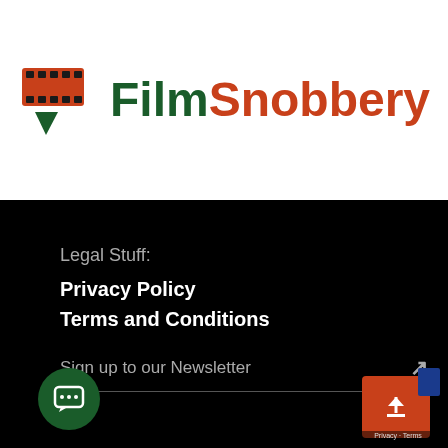[Figure (logo): FilmSnobbery logo with film reel icon and clapperboard graphic, green 'Film' text and orange 'Snobbery' text, with hamburger menu icon]
Legal Stuff:
Privacy Policy
Terms and Conditions
Sign up to our Newsletter ↗